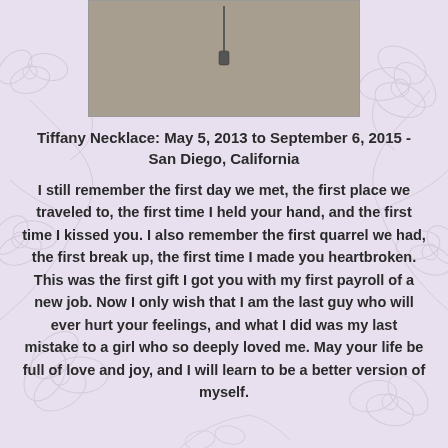[Figure (photo): A photo of a Tiffany necklace on a gray fabric background]
Tiffany Necklace: May 5, 2013 to September 6, 2015 - San Diego, California
I still remember the first day we met, the first place we traveled to, the first time I held your hand, and the first time I kissed you. I also remember the first quarrel we had, the first break up, the first time I made you heartbroken. This was the first gift I got you with my first payroll of a new job. Now I only wish that I am the last guy who will ever hurt your feelings, and what I did was my last mistake to a girl who so deeply loved me. May your life be full of love and joy, and I will learn to be a better version of myself.